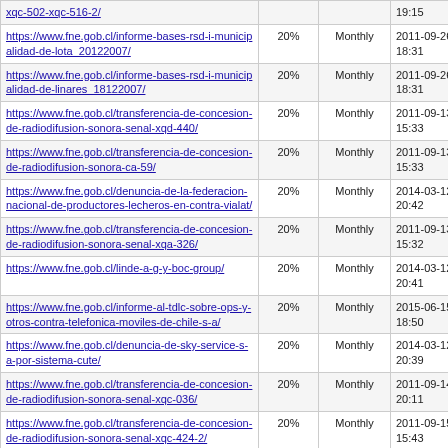| URL | Change Frequency % | Frequency | Last Modified |
| --- | --- | --- | --- |
| xqc-502-xqc-516-2/ |  |  | 19:15 |
| https://www.fne.gob.cl/informe-bases-rsd-i-municipalidad-de-lota_20122007/ | 20% | Monthly | 2011-09-26 18:31 |
| https://www.fne.gob.cl/informe-bases-rsd-i-municipalidad-de-linares_18122007/ | 20% | Monthly | 2011-09-26 18:31 |
| https://www.fne.gob.cl/transferencia-de-concesion-de-radiodifusion-sonora-senal-xqd-440/ | 20% | Monthly | 2011-09-13 15:33 |
| https://www.fne.gob.cl/transferencia-de-concesion-de-radiodifusion-sonora-ca-59/ | 20% | Monthly | 2011-09-13 15:33 |
| https://www.fne.gob.cl/denuncia-de-la-federacion-nacional-de-productores-lecheros-en-contra-vialat/ | 20% | Monthly | 2014-03-12 20:42 |
| https://www.fne.gob.cl/transferencia-de-concesion-de-radiodifusion-sonora-senal-xqa-326/ | 20% | Monthly | 2011-09-13 15:32 |
| https://www.fne.gob.cl/linde-a-g-y-boc-group/ | 20% | Monthly | 2014-03-12 20:41 |
| https://www.fne.gob.cl/informe-al-tdlc-sobre-ops-y-otros-contra-telefonica-moviles-de-chile-s-a/ | 20% | Monthly | 2015-06-15 18:50 |
| https://www.fne.gob.cl/denuncia-de-sky-service-s-a-por-sistema-cute/ | 20% | Monthly | 2014-03-12 20:39 |
| https://www.fne.gob.cl/transferencia-de-concesion-de-radiodifusion-sonora-senal-xqc-036/ | 20% | Monthly | 2011-09-14 20:11 |
| https://www.fne.gob.cl/transferencia-de-concesion-de-radiodifusion-sonora-senal-xqc-424-2/ | 20% | Monthly | 2011-09-15 15:43 |
| https://www.fne.gob.cl/denuncia-del-h-senador-sr-guillermo-vasquez-por-negativa-de-venta-de-la-pildora-del-dia-despues/ | 20% | Monthly | 2014-03-12 20:38 |